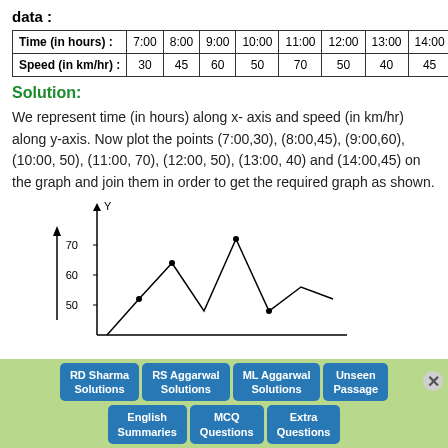data :
| Time (in hours) : | 7:00 | 8:00 | 9:00 | 10:00 | 11:00 | 12:00 | 13:00 | 14:00 |
| --- | --- | --- | --- | --- | --- | --- | --- | --- |
| Speed (in km/hr) : | 30 | 45 | 60 | 50 | 70 | 50 | 40 | 45 |
Solution:
We represent time (in hours) along x- axis and speed (in km/hr) along y-axis. Now plot the points (7:00,30), (8:00,45), (9:00,60), (10:00, 50), (11:00, 70), (12:00, 50), (13:00, 40) and (14:00,45) on the graph and join them in order to get the required graph as shown.
[Figure (line-chart): Speed vs Time]
RD Sharma Solutions
RS Aggarwal Solutions
ML Aggarwal Solutions
Unseen Passage
English Summaries
MCQ Questions
Extra Questions